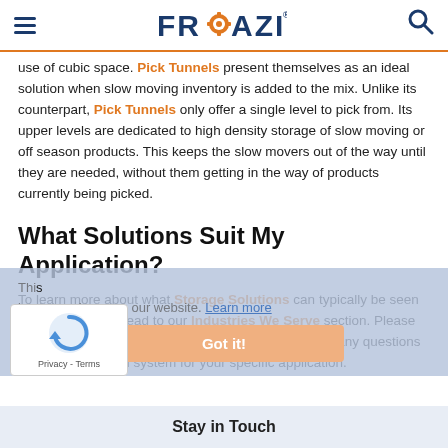FRAZIER
use of cubic space. Pick Tunnels present themselves as an ideal solution when slow moving inventory is added to the mix. Unlike its counterpart, Pick Tunnels only offer a single level to pick from. Its upper levels are dedicated to high density storage of slow moving or off season products. This keeps the slow movers out of the way until they are needed, without them getting in the way of products currently being picked.
What Solutions Suit My Application?
To learn more about what Storage Solutions can typically be seen in each industry, head to our Industries We Serve section. Please contact us directly at frazier@frazier.com to discuss any questions regarding the ideal system for your specific application.
This [cookie notice overlay] best experience on our website. Learn more
Stay in Touch